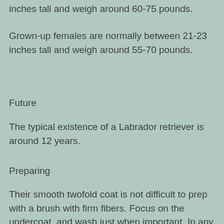inches tall and weigh around 60-75 pounds.
Grown-up females are normally between 21-23 inches tall and weigh around 55-70 pounds.
Future
The typical existence of a Labrador retriever is around 12 years.
Preparing
Their smooth twofold coat is not difficult to prep with a brush with firm fibers. Focus on the undercoat, and wash just when important. In any event, when they swim their skin stays dry...